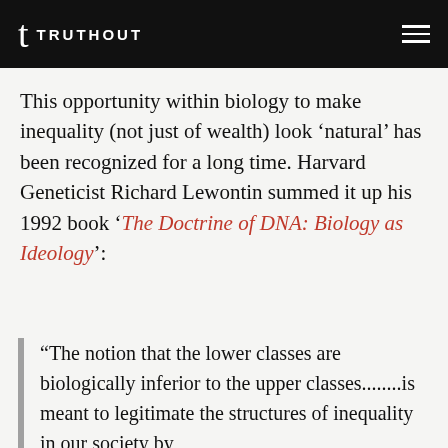TRUTHOUT
This opportunity within biology to make inequality (not just of wealth) look ‘natural’ has been recognized for a long time. Harvard Geneticist Richard Lewontin summed it up his 1992 book ‘The Doctrine of DNA: Biology as Ideology’:
“The notion that the lower classes are biologically inferior to the upper classes........is meant to legitimate the structures of inequality in our society by